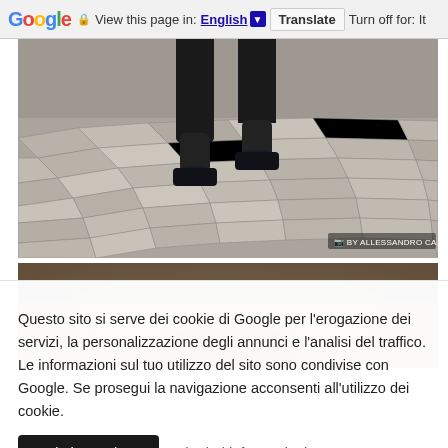Google  View this page in: English [▼]  Translate  Turn off for: It
[Figure (photo): Close-up photo of a person's lower legs and feet wearing black jogger pants and black shoes, walking on cobblestone pavement. Watermark: BY ALESSANDRO GA...]
[Figure (photo): Blurred photo showing top of a person's head with brown hair against a warm blurred background.]
Questo sito si serve dei cookie di Google per l'erogazione dei servizi, la personalizzazione degli annunci e l'analisi del traffico. Le informazioni sul tuo utilizzo del sito sono condivise con Google. Se prosegui la navigazione acconsenti all'utilizzo dei cookie.
Ok, ho capito.
ulteriori informazioni